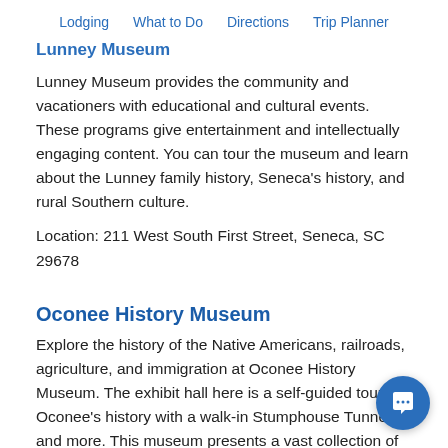Lodging  What to Do  Directions  Trip Planner
Lunney Museum
Lunney Museum provides the community and vacationers with educational and cultural events. These programs give entertainment and intellectually engaging content. You can tour the museum and learn about the Lunney family history, Seneca's history, and rural Southern culture.
Location: 211 West South First Street, Seneca, SC 29678
Oconee History Museum
Explore the history of the Native Americans, railroads, agriculture, and immigration at Oconee History Museum. The exhibit hall here is a self-guided tour of Oconee's history with a walk-in Stumphouse Tunnel and more. This museum presents a vast collection of original artifacts from historical England's General